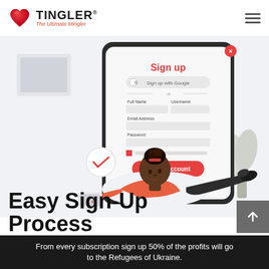TINGLER® — The Ultimate Mingler
[Figure (illustration): Illustration of a Black woman lying on her stomach using a tablet, with a large phone screen showing a Sign Up form in the background. The form shows Sign up with Google option, Full Name, Username, Email Address, Password fields, and a Create Account button. A checkmark circle is visible on the left.]
Easy Sign-Up Process
From every subscription sign up 50% of the profits will go to the Refugees of Ukraine.